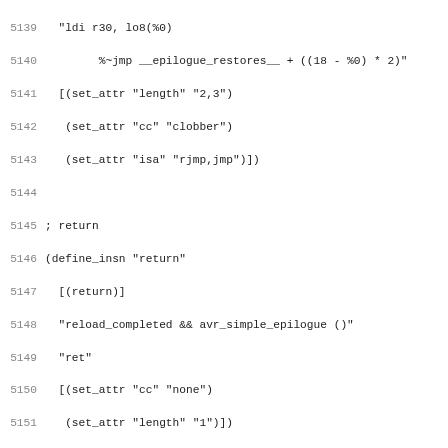Source code listing lines 5139-5170, AVR GCC machine description (MD) file with define_insn patterns for return, return_from_epilogue, and return_from_interrupt_epilogue instructions.